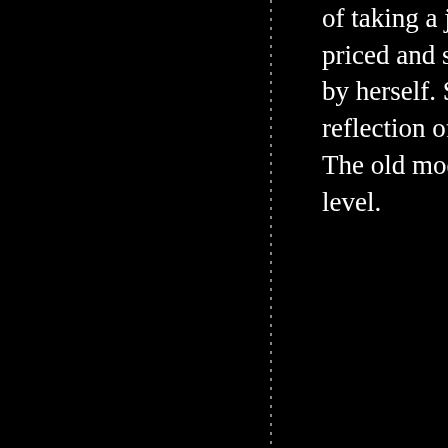of taking a job that priced and sold we by herself. She enjo reflection of the ide The old model look level.
[Figure (photo): Partial image of a woman in white clothing with a painting visible in the background. Appears to be a cropped page illustration.]